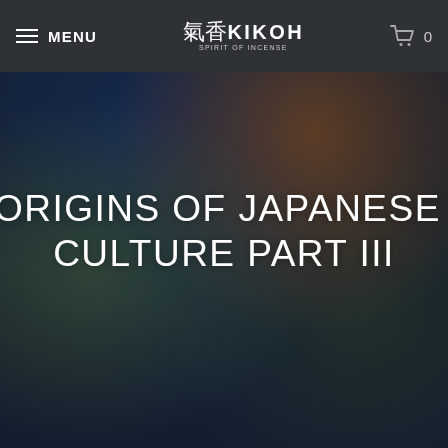MENU | 氣香 KIKOH SPIRIT OF INCENSE | 🛒 0
[Figure (photo): Blurred outdoor scene showing cherry blossoms, a temple structure with warm orange lighting, and blue sky in the background — serving as a hero image background]
ORIGINS OF JAPANESE INCENSE CULTURE PART III